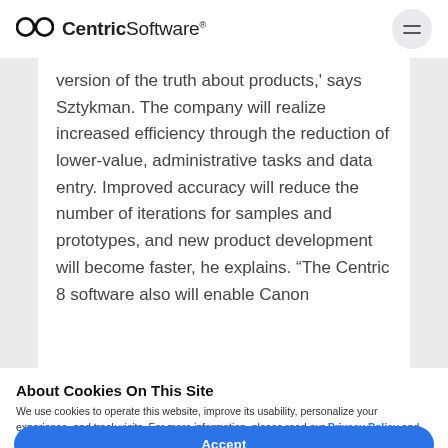Centric Software
version of the truth about products,' says Sztykman. The company will realize increased efficiency through the reduction of lower-value, administrative tasks and data entry. Improved accuracy will reduce the number of iterations for samples and prototypes, and new product development will become faster, he explains. “The Centric 8 software also will enable Canon
About Cookies On This Site
We use cookies to operate this website, improve its usability, personalize your experience, and track visits. For more information, please read our Privacy Policy and Cookie Policy.
Accept